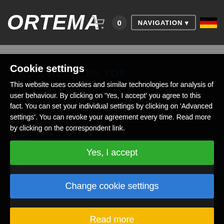ORTEMA
FROM HEAD TO TOE
Cookie settings
This website uses cookies and similar technologies for analysis of user behaviour. By clicking on 'Yes, I accept' you agree to this fact. You can set your individual settings by clicking on 'Advanced settings'. You can revoke your agreement every time. Read more by clicking on the correspondent link.
Shoulder / Arm
Hand
Yes, I accept
Change cookie settings
Read more